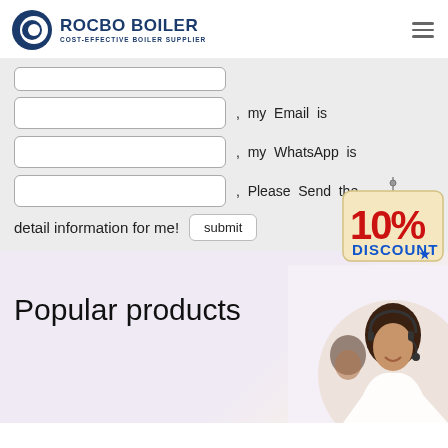ROCBO BOILER - COST-EFFECTIVE BOILER SUPPLIER
, my Email is
, my WhatsApp is
, Please Send the detail information for me!
[Figure (illustration): 10% DISCOUNT badge/tag graphic in red and blue text on beige tag]
Popular products
[Figure (photo): Customer service representative woman smiling wearing headset, with another person in background]